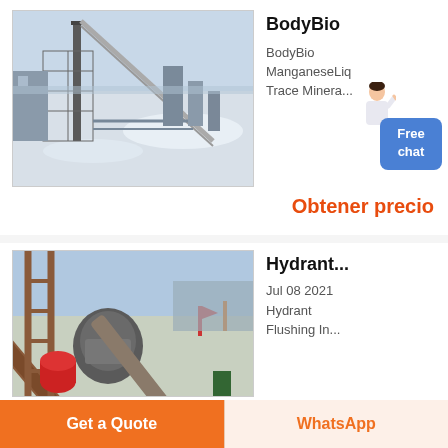[Figure (photo): Aerial view of an industrial mining or processing plant in winter with snow-covered surroundings and scaffolding structures]
BodyBio
BodyBio
ManganeseLiq
Trace Minera...
Obtener precio
[Figure (photo): Industrial construction site with heavy machinery, conveyor belts and metal scaffolding structures]
Hydrant...
Jul 08 2021
Hydrant
Flushing In...
Get a Quote
WhatsApp